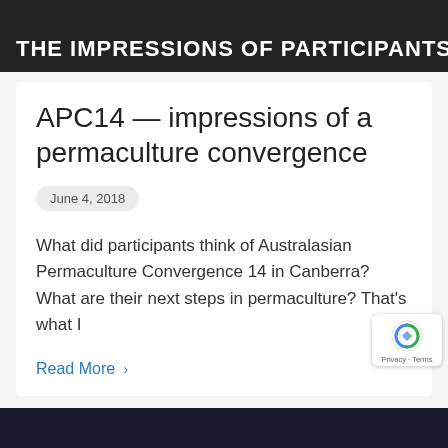THE IMPRESSIONS OF PARTICIPANTS T
APC14 — impressions of a permaculture convergence
June 4, 2018
What did participants think of Australasian Permaculture Convergence 14 in Canberra? What are their next steps in permaculture? That's what I
Read More ›